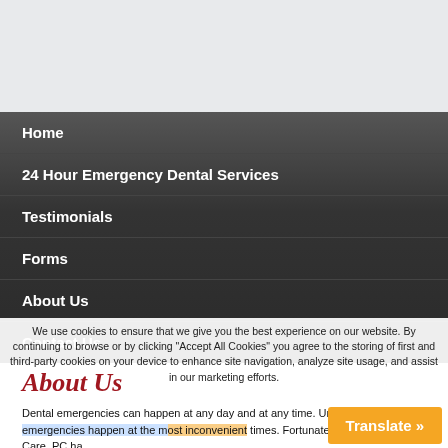[Figure (other): Top gray header area of a dental website]
Home
24 Hour Emergency Dental Services
Testimonials
Forms
About Us
Contact Us
We use cookies to ensure that we give you the best experience on our website. By continuing to browse or by clicking “Accept All Cookies” you agree to the storing of first and third-party cookies on your device to enhance site navigation, analyze site usage, and assist in our marketing efforts.
About Us
Dental emergencies can happen at any day and at any time. Unfortunately, most emergencies happen at the most inconvenient times. Fortunately, Dental Emergency Care, PC ha…
Translate »